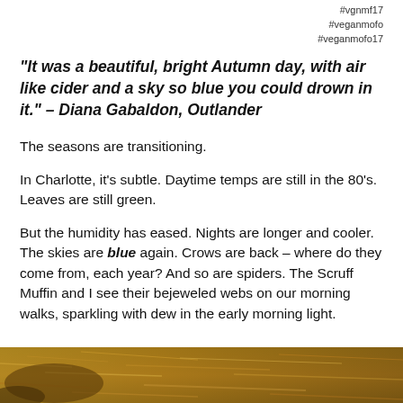#vgnmf17
#veganmofo
#veganmofo17
“It was a beautiful, bright Autumn day, with air like cider and a sky so blue you could drown in it.” – Diana Gabaldon, Outlander
The seasons are transitioning.
In Charlotte, it’s subtle. Daytime temps are still in the 80’s. Leaves are still green.
But the humidity has eased. Nights are longer and cooler. The skies are blue again. Crows are back – where do they come from, each year? And so are spiders. The Scruff Muffin and I see their bejeweled webs on our morning walks, sparkling with dew in the early morning light.
[Figure (photo): Bottom strip showing a nature/ground scene with warm autumn tones, brown and golden hues.]